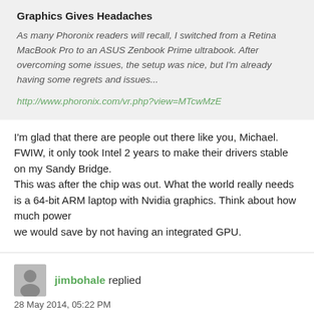Graphics Gives Headaches
As many Phoronix readers will recall, I switched from a Retina MacBook Pro to an ASUS Zenbook Prime ultrabook. After overcoming some issues, the setup was nice, but I'm already having some regrets and issues...
http://www.phoronix.com/vr.php?view=MTcwMzE
I'm glad that there are people out there like you, Michael. FWIW, it only took Intel 2 years to make their drivers stable on my Sandy Bridge.
This was after the chip was out. What the world really needs is a 64-bit ARM laptop with Nvidia graphics. Think about how much power
we would save by not having an integrated GPU.
jimbohale replied
28 May 2014, 05:22 PM
Originally posted by deppman